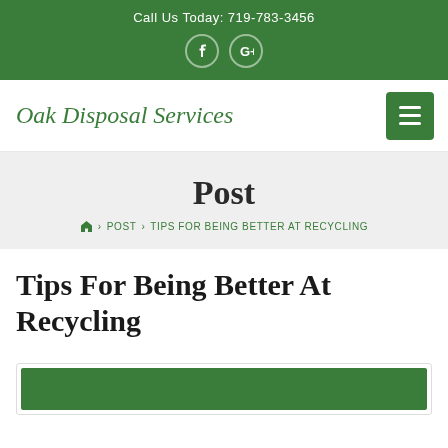Call Us Today: 719-783-3456
Oak Disposal Services
Post
HOME > POST > TIPS FOR BEING BETTER AT RECYCLING
Tips For Being Better At Recycling
[Figure (photo): Green image preview at bottom of page]